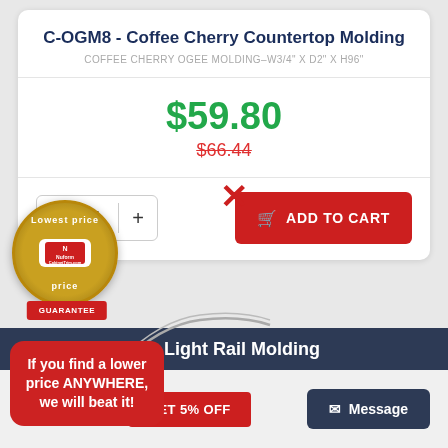C-OGM8 - Coffee Cherry Countertop Molding
COFFEE CHERRY OGEE MOLDING–W3/4" X D2" X H96"
$59.80
$66.44
1
ADD TO CART
[Figure (logo): Lowest price guarantee badge with NuForm logo and red ribbon saying GUARANTEE]
If you find a lower price ANYWHERE, we will beat it!
er Light Rail Molding
GET 5% OFF
Message